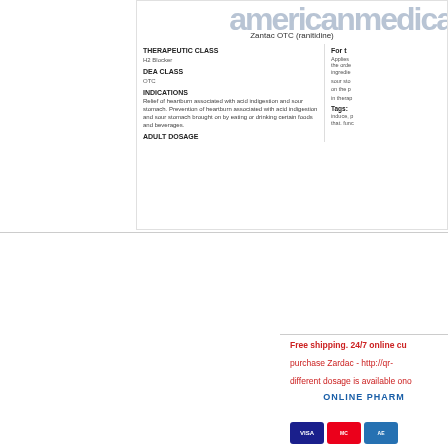[Figure (screenshot): americanmedical website header with drug information document showing Zantac OTC (ranitidine) with sections: Therapeutic Class (H2 blocker), DEA Class (OTC), Indications (Relief of heartburn associated with acid indigestion and sour stomach, Prevention of heartburn associated with acid indigestion and sour stomach brought on by eating or drinking certain foods and beverages), Adult Dosage]
zithromaxtable
zithromax z pak cost - D aged 65 to 85 When av however in elderly wom the susceptibility obser
[Figure (screenshot): Online pharmacy advertisement with red text: Free shipping, 24/7 online cu; purchase Zardac - http://qr-; different dosage is available ono; ONLINE PHARMA with payment card icons (Visa, Mastercard, another card)]